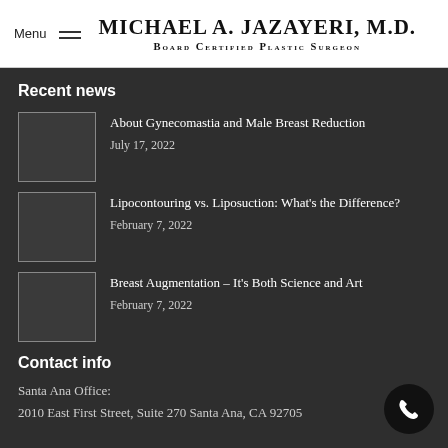MICHAEL A. JAZAYERI, M.D. Board Certified Plastic Surgeon
Recent news
About Gynecomastia and Male Breast Reduction
July 17, 2022
Lipocontouring vs. Liposuction: What's the Difference?
February 7, 2022
Breast Augmentation – It's Both Science and Art
February 7, 2022
Contact info
Santa Ana Office:
2010 East First Street, Suite 270 Santa Ana, CA 92705